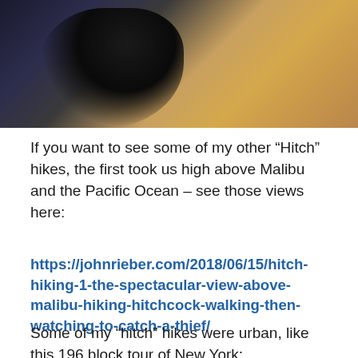[Figure (photo): Person photographing outdoors, lying on ground, dark silhouette against sandy/earthy terrain backdrop]
If you want to see some of my other “Hitch” hikes, the first took us high above Malibu and the Pacific Ocean – see those views here:
https://johnrieber.com/2018/06/15/hitch-hiking-1-the-spectacular-view-above-malibu-hiking-hitchcock-walking-then-watching-to-catch-a-thief/
Some of my “hitch” hikes were urban, like this 196 block tour of New York: